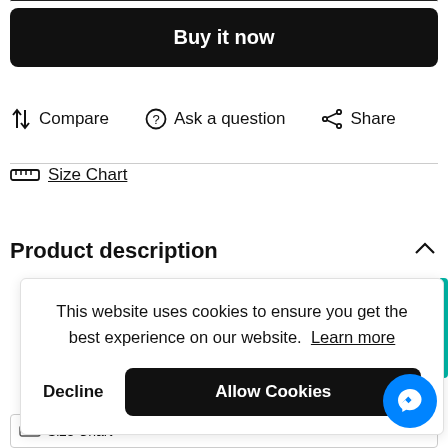Buy it now
Compare   Ask a question   Share
Size Chart
Product description
This website uses cookies to ensure you get the best experience on our website. Learn more
Decline
Allow Cookies
Size Chart